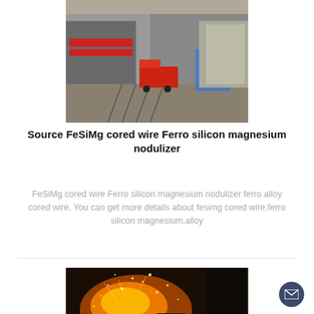[Figure (photo): Industrial facility yard with a red truck and blue-wrapped cargo outside a warehouse building]
Source FeSiMg cored wire Ferro silicon magnesium nodulizer
FeSiMg cored wire Ferro silicon magnesium nodulizer ferro alloy cored wire, You can get more details about fesimg cored wire,ferro silicon magnesium,alloy
[Figure (photo): Industrial molten metal process with bright sparks and orange fire light in a foundry]